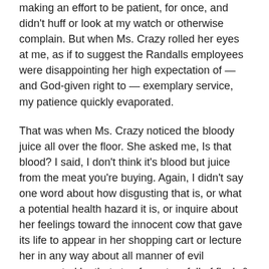making an effort to be patient, for once, and didn't huff or look at my watch or otherwise complain. But when Ms. Crazy rolled her eyes at me, as if to suggest the Randalls employees were disappointing her high expectation of — and God-given right to — exemplary service, my patience quickly evaporated.
That was when Ms. Crazy noticed the bloody juice all over the floor. She asked me, Is that blood? I said, I don't think it's blood but juice from the meat you're buying. Again, I didn't say one word about how disgusting that is, or what a potential health hazard it is, or inquire about her feelings toward the innocent cow that gave its life to appear in her shopping cart or lecture her in any way about all manner of evil represented by that styrofoam tray full of flesh & muscle.